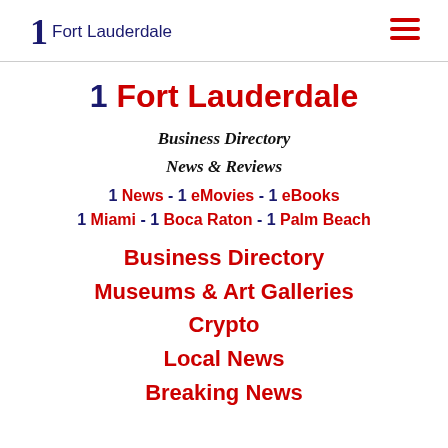1 Fort Lauderdale
1 Fort Lauderdale
Business Directory
News & Reviews
1 News - 1 eMovies - 1 eBooks
1 Miami - 1 Boca Raton - 1 Palm Beach
Business Directory
Museums & Art Galleries
Crypto
Local News
Breaking News